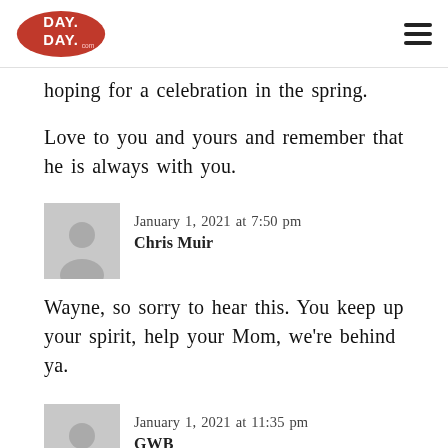Day by Day
hoping for a celebration in the spring.
Love to you and yours and remember that he is always with you.
January 1, 2021 at 7:50 pm
Chris Muir
Wayne, so sorry to hear this. You keep up your spirit, help your Mom, we're behind ya.
January 1, 2021 at 11:35 pm
GWB